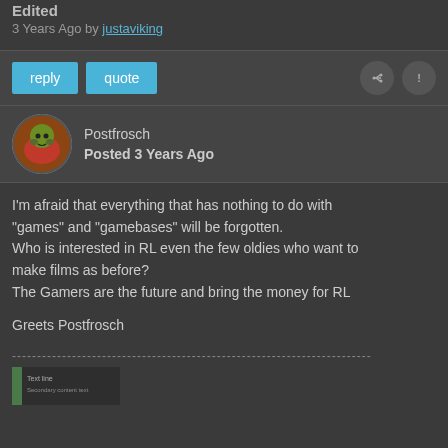Edited
3 Years Ago by justaviking
reply   quote
Postfrosch
Posted 3 Years Ago
I'm afraid that everything that has nothing to do with "games" and "gamebases" will be forgotten.
Who is interested in RL even the few oldies who want to make films as before?
The Gamers are the future and bring the money for RL

Greets Postfrosch
[Figure (screenshot): Thumbnail image at bottom, green left border with text content visible]